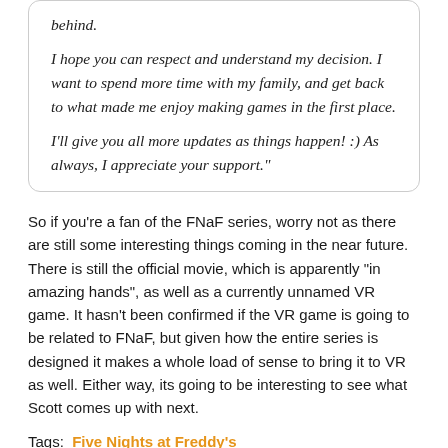behind. I hope you can respect and understand my decision. I want to spend more time with my family, and get back to what made me enjoy making games in the first place. I'll give you all more updates as things happen! :) As always, I appreciate your support."
So if you're a fan of the FNaF series, worry not as there are still some interesting things coming in the near future. There is still the official movie, which is apparently "in amazing hands", as well as a currently unnamed VR game. It hasn't been confirmed if the VR game is going to be related to FNaF, but given how the entire series is designed it makes a whole load of sense to bring it to VR as well. Either way, its going to be interesting to see what Scott comes up with next.
Tags: Five Nights at Freddy's